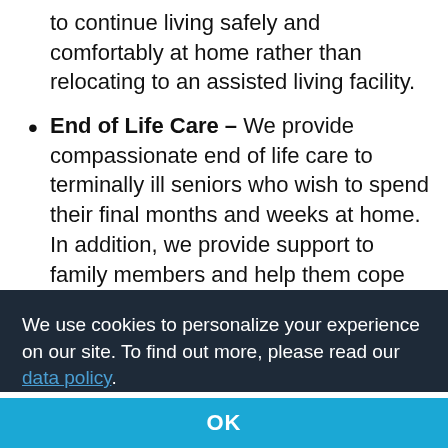to continue living safely and comfortably at home rather than relocating to an assisted living facility.
End of Life Care – We provide compassionate end of life care to terminally ill seniors who wish to spend their final months and weeks at home. In addition, we provide support to family members and help them cope with the situation.
We use cookies to personalize your experience on our site. To find out more, please read our data policy.
OK
help your loved one with mobility and